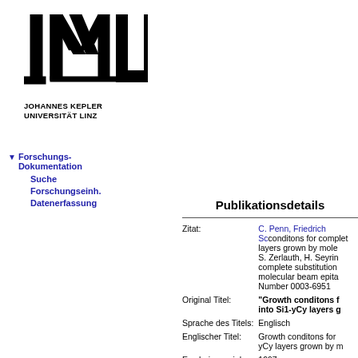[Figure (logo): JKU Johannes Kepler Universität Linz logo with stylized JKU letters and institution name]
▼ Forschungs-Dokumentation
Suche
Forschungseinh.
Datenerfassung
Publikationsdetails
| Field | Value |
| --- | --- |
| Zitat: | C. Penn, Friedrich Sc conditons for complet layers grown by mole S. Zerlauth, H. Seyrin complete substitution molecular beam epita Number 0003-6951 |
| Original Titel: | "Growth conditons f into Si1-yCy layers g |
| Sprache des Titels: | Englisch |
| Englischer Titel: | Growth conditons for yCy layers grown by m |
| Erscheinungsjahr: | 1997 |
| Notiz zum Zitat: | S. Zerlauth, H. Seyrin complete substitution molecular beam epita Number 0003-6951 |
| ISBN: | 0003-6951 |
| Anzahl der Seiten: | 0 |
| Publikationstyp: | Aufsatz / Paper in so |